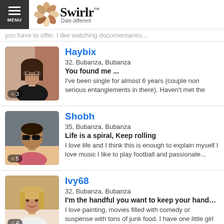Swirlr — Date different
you have to offer. I like watching documentaries...
Haybix
32, Bubanza, Bubanza
You found me ...
I've been single for almost 6 years (couple non serious entanglements in there). Haven't met the
Shobh
35, Bubanza, Bubanza
Life is a spiral, Keep rolling
I love life and I think this is enough to explain myself I love music I like to play football and passionate...
Ivy68
32, Bubanza, Bubanza
I'm the handful you want to keep your hands f...
I love painting, movies filled with comedy or suspense with tons of junk food. I have one little girl and I'm...